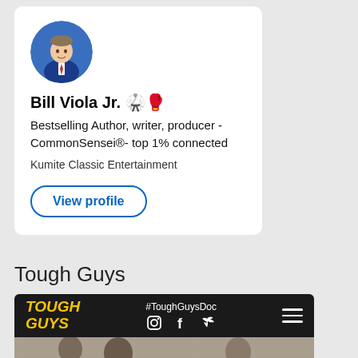[Figure (photo): Circular profile photo of Bill Viola Jr., a man in a suit, on a blue background]
Bill Viola Jr. 🥋🥊
Bestselling Author, writer, producer - CommonSensei®- top 1% connected
Kumite Classic Entertainment
View profile
Tough Guys
[Figure (screenshot): Tough Guys documentary website header with logo, #ToughGuysDoc hashtag, social media icons (Instagram, Facebook, Twitter), hamburger menu, and a photo of wrestlers/fighters below]